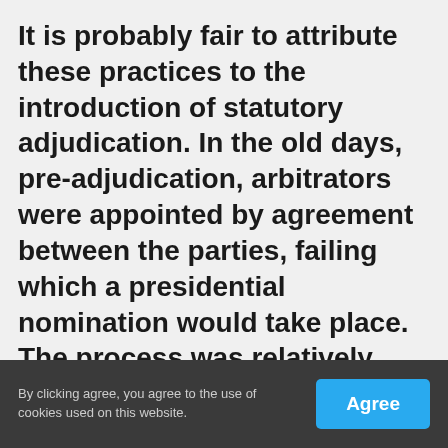It is probably fair to attribute these practices to the introduction of statutory adjudication. In the old days, pre-adjudication, arbitrators were appointed by agreement between the parties, failing which a presidential nomination would take place. The process was relatively straightforward and uncontroversial. It is the speed of the adjudication process, and the requirement to get an adjudicator on board in a matter of 2-3 days, that has left the
By clicking agree, you agree to the use of cookies used on this website. [Agree]